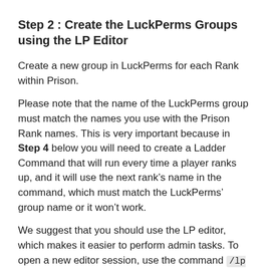Step 2 : Create the LuckPerms Groups using the LP Editor
Create a new group in LuckPerms for each Rank within Prison.
Please note that the name of the LuckPerms group must match the names you use with the Prison Rank names. This is very important because in Step 4 below you will need to create a Ladder Command that will run every time a player ranks up, and it will use the next rank’s name in the command, which must match the LuckPerms’ group name or it won’t work.
We suggest that you should use the LP editor, which makes it easier to perform admin tasks. To open a new editor session, use the command /lp editor then click on the hyperlink, or copy and paste it to your browser.
Within the LP Web Permissions Editor, to the left of the